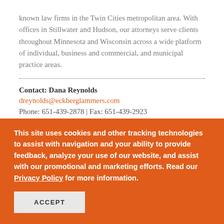known law firms in the Twin Cities metropolitan area. With offices in Stillwater and Hudson, our attorneys serve clients throughout Minnesota and Wisconsin across a wide platform of individual, business and commercial, and municipal practice areas.
Contact: Dana Reynolds
dreynolds@eckberglammers.com
Phone: 651-439-2878 | Fax: 651-439-2923
RELATED PRACTICE AREAS
This site uses cookies and other tracking technologies to assist with navigation and your ability to provide feedback, analyze your use of our website, and assist with our promotional and marketing efforts. Read our Privacy Policy for more information.
ACCEPT